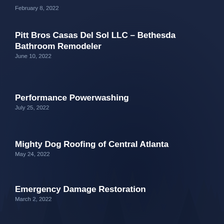February 8, 2022
Pitt Bros Casas Del Sol LLC – Bethesda Bathroom Remodeler
June 10, 2022
Performance Powerwashing
July 25, 2022
Mighty Dog Roofing of Central Atlanta
May 24, 2022
Emergency Damage Restoration
March 2, 2022